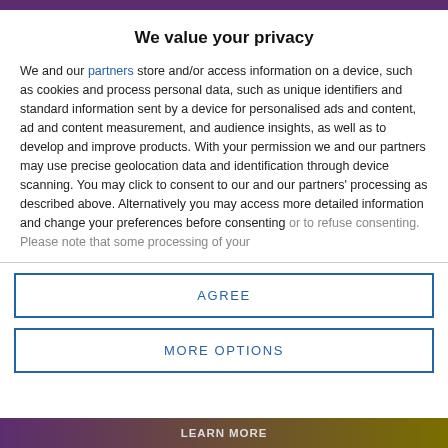We value your privacy
We and our partners store and/or access information on a device, such as cookies and process personal data, such as unique identifiers and standard information sent by a device for personalised ads and content, ad and content measurement, and audience insights, as well as to develop and improve products. With your permission we and our partners may use precise geolocation data and identification through device scanning. You may click to consent to our and our partners' processing as described above. Alternatively you may access more detailed information and change your preferences before consenting or to refuse consenting. Please note that some processing of your
AGREE
MORE OPTIONS
LEARN MORE